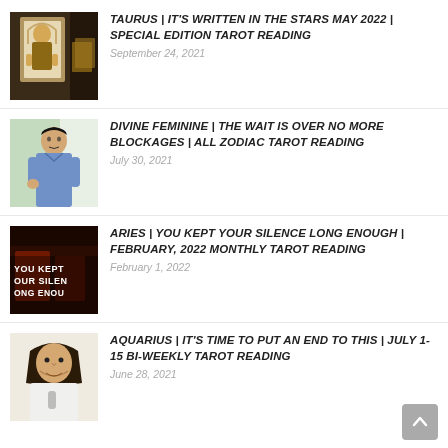[Figure (photo): Thumbnail of tarot reading video with Egyptian-themed card imagery]
TAURUS | IT'S WRITTEN IN THE STARS MAY 2022 | SPECIAL EDITION TAROT READING
September 24, 2021
[Figure (photo): Thumbnail of man in blue shirt for Divine Feminine tarot reading]
DIVINE FEMININE | THE WAIT IS OVER NO MORE BLOCKAGES | ALL ZODIAC TAROT READING
July 30, 2021
[Figure (photo): Thumbnail with text YOU KEPT YOUR SILENCE LONG ENOUGH for Aries tarot reading]
ARIES | YOU KEPT YOUR SILENCE LONG ENOUGH | FEBRUARY, 2022 MONTHLY TAROT READING
February 1, 2022
[Figure (photo): Thumbnail of man in white shirt for Aquarius tarot reading]
AQUARIUS | IT'S TIME TO PUT AN END TO THIS | JULY 1-15 BI-WEEKLY TAROT READING
June 28, 2021